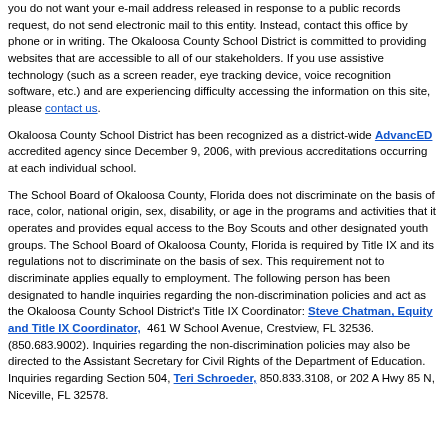you do not want your e-mail address released in response to a public records request, do not send electronic mail to this entity. Instead, contact this office by phone or in writing. The Okaloosa County School District is committed to providing websites that are accessible to all of our stakeholders. If you use assistive technology (such as a screen reader, eye tracking device, voice recognition software, etc.) and are experiencing difficulty accessing the information on this site, please contact us.
Okaloosa County School District has been recognized as a district-wide AdvancED accredited agency since December 9, 2006, with previous accreditations occurring at each individual school.
The School Board of Okaloosa County, Florida does not discriminate on the basis of race, color, national origin, sex, disability, or age in the programs and activities that it operates and provides equal access to the Boy Scouts and other designated youth groups. The School Board of Okaloosa County, Florida is required by Title IX and its regulations not to discriminate on the basis of sex. This requirement not to discriminate applies equally to employment. The following person has been designated to handle inquiries regarding the non-discrimination policies and act as the Okaloosa County School District's Title IX Coordinator: Steve Chatman, Equity and Title IX Coordinator, 461 W School Avenue, Crestview, FL 32536. (850.683.9002). Inquiries regarding the non-discrimination policies may also be directed to the Assistant Secretary for Civil Rights of the Department of Education. Inquiries regarding Section 504, Teri Schroeder, 850.833.3108, or 202 A Hwy 85 N, Niceville, FL 32578.